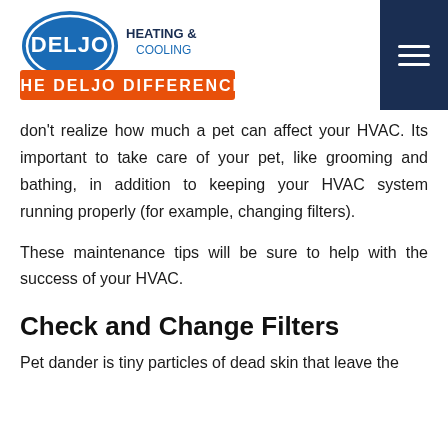[Figure (logo): Deljo Heating & Cooling logo with oval blue badge and orange banner reading THE DELJO DIFFERENCE]
don't realize how much a pet can affect your HVAC. Its important to take care of your pet, like grooming and bathing, in addition to keeping your HVAC system running properly (for example, changing filters).
These maintenance tips will be sure to help with the success of your HVAC.
Check and Change Filters
Pet dander is tiny particles of dead skin that leave the